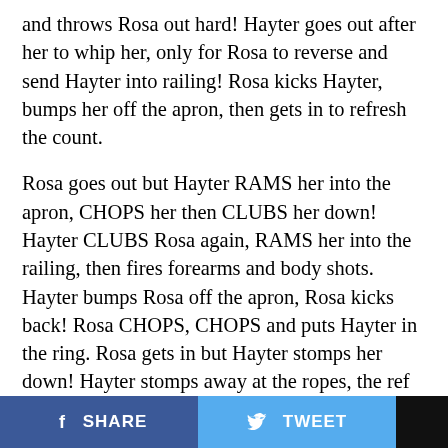and throws Rosa out hard! Hayter goes out after her to whip her, only for Rosa to reverse and send Hayter into railing! Rosa kicks Hayter, bumps her off the apron, then gets in to refresh the count.
Rosa goes out but Hayter RAMS her into the apron, CHOPS her then CLUBS her down! Hayter CLUBS Rosa again, RAMS her into the railing, then fires forearms and body shots. Hayter bumps Rosa off the apron, Rosa kicks back! Rosa CHOPS, CHOPS and puts Hayter in the ring. Rosa gets in but Hayter stomps her down! Hayter stomps away at the ropes, the ref counts and Hayter lets off. Fans fire up. Rosa throws body shots but Hayter CLUBS her down again. Rosa throws body shots, fans fire up and Hayter covers up. Rosa lets off, whips Hayter to ropes but Hayter reverses to CLOBBER her with an elbow! And KICK her in the back!
SHARE   TWEET